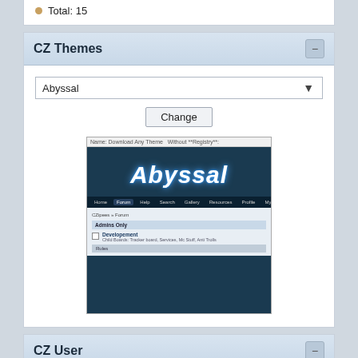Total: 15
CZ Themes
[Figure (screenshot): CZ Themes widget showing a dropdown selector set to 'Abyssal', a Change button, and a preview screenshot of the Abyssal forum theme with dark teal background and glowing italic title text]
CZ User
Welcome, Guest. Please login or register. Did you miss your activation email?
Sep 03, 22, 03:33:24 AM